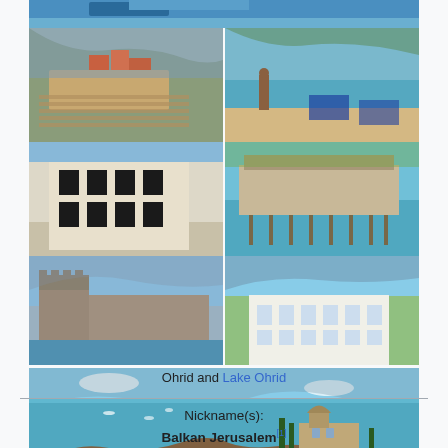[Figure (photo): Composite photo grid showing Ohrid and Lake Ohrid: top panoramic strip (blue boat on water), middle left (ancient theater and town rooftops), middle right (beach scene with sunbathers), lower-middle left (traditional Ottoman architecture), lower-middle right (lake resort on stilts), bottom-left (Samuel's Fortress castle wall), bottom-right (white neoclassical building), bottom full-width (panoramic lake view with church ruins in foreground)]
Ohrid and Lake Ohrid
Nickname(s):
Balkan Jerusalem[1]